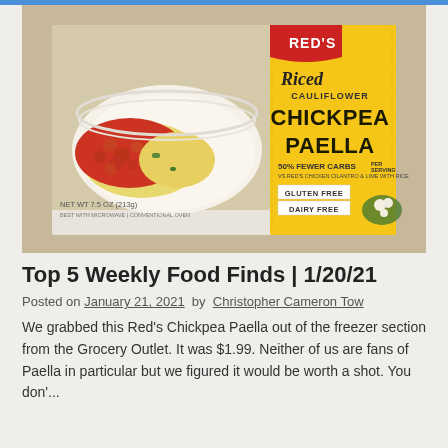[Figure (photo): Photo of Red's Riced Cauliflower Chickpea Paella frozen food box. The box has a red banner with 'RED'S' logo on the left and a yellow panel on the right with text: 'Riced CAULIFLOWER CHICKPEA PAELLA', '50% FEWER CARBS PER SERVING VS RED'S CHICKEN CILANTRO & LIME WITH RICE', 'GLUTEN FREE', 'DAIRY FREE'. The left side of the box shows a bowl of the dish. NET WT 7.5 OZ (213g).]
Top 5 Weekly Food Finds | 1/20/21
Posted on January 21, 2021  by  Christopher Cameron Tow
We grabbed this Red's Chickpea Paella out of the freezer section from the Grocery Outlet. It was $1.99. Neither of us are fans of Paella in particular but we figured it would be worth a shot. You don'...